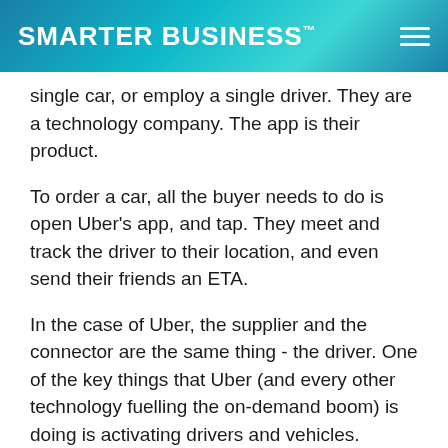SMARTER BUSINESS™
single car, or employ a single driver. They are a technology company. The app is their product.
To order a car, all the buyer needs to do is open Uber's app, and tap. They meet and track the driver to their location, and even send their friends an ETA.
In the case of Uber, the supplier and the connector are the same thing - the driver. One of the key things that Uber (and every other technology fuelling the on-demand boom) is doing is activating drivers and vehicles.
And the critical mass Uber has achieved means that there's no administrative bottleneck in connecting customers and drivers. It all happens instantly. Even the process of becoming a driver has been stripped back to